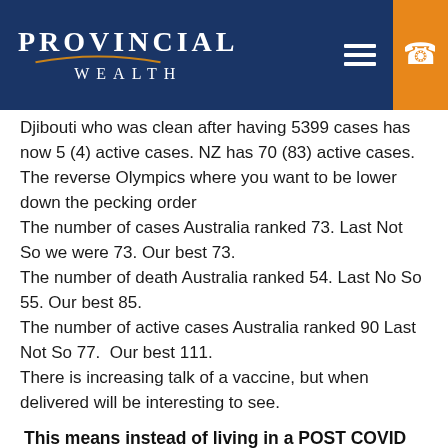[Figure (logo): Provincial Wealth logo with arc underline on dark blue background, with hamburger menu icon and phone icon on orange background]
Djibouti who was clean after having 5399 cases has now 5 (4) active cases. NZ has 70 (83) active cases.
The reverse Olympics where you want to be lower down the pecking order
The number of cases Australia ranked 73. Last Not So we were 73. Our best 73.
The number of death Australia ranked 54. Last No So 55. Our best 85.
The number of active cases Australia ranked 90 Last Not So 77.  Our best 111.
There is increasing talk of a vaccine, but when delivered will be interesting to see.
This means instead of living in a POST COVID world, we might be in a “living with COVID world”. This is likely to have